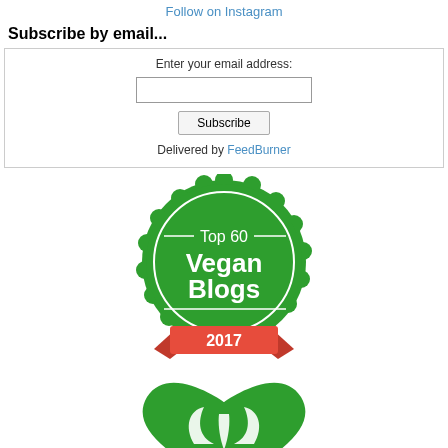Follow on Instagram
Subscribe by email...
Enter your email address:
[input field]
[Subscribe button]
Delivered by FeedBurner
[Figure (illustration): Green circular badge with scalloped edge, white circle inside, text 'Top 60 Vegan Blogs', red ribbon banner at bottom reading '2017']
[Figure (logo): Green heart-shaped logo with white leaf/plant design inside, partially visible at bottom of page]